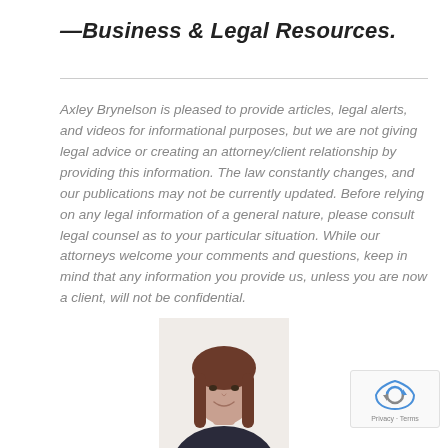—Business & Legal Resources.
Axley Brynelson is pleased to provide articles, legal alerts, and videos for informational purposes, but we are not giving legal advice or creating an attorney/client relationship by providing this information. The law constantly changes, and our publications may not be currently updated. Before relying on any legal information of a general nature, please consult legal counsel as to your particular situation. While our attorneys welcome your comments and questions, keep in mind that any information you provide us, unless you are now a client, will not be confidential.
[Figure (photo): Headshot photo of a woman with long brown hair, smiling, wearing a dark top, shown from shoulders up against a white background.]